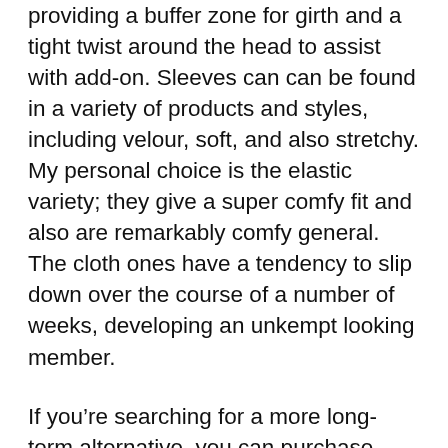providing a buffer zone for girth and a tight twist around the head to assist with add-on. Sleeves can can be found in a variety of products and styles, including velour, soft, and also stretchy. My personal choice is the elastic variety; they give a super comfy fit and also are remarkably comfy general. The cloth ones have a tendency to slip down over the course of a number of weeks, developing an unkempt looking member.
If you’re searching for a more long-term alternative, you can purchase penis sleeves. They come in two fundamental styles: sticky (which is where the penis gets stayed with the sleeve) as well as nonstick. If you don’t care regarding showing your sleeve off, sticky versions are fine, yet if you’re